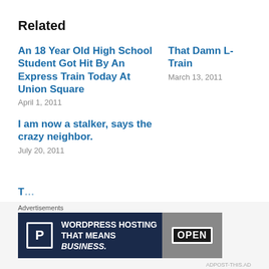Related
An 18 Year Old High School Student Got Hit By An Express Train Today At Union Square
April 1, 2011
That Damn L-Train
March 13, 2011
I am now a stalker, says the crazy neighbor.
July 20, 2011
[Figure (screenshot): WordPress Hosting advertisement banner with dark navy background, WordPress 'P' logo icon, text 'WORDPRESS HOSTING THAT MEANS BUSINESS.' and an image of an OPEN sign on the right side.]
Advertisements